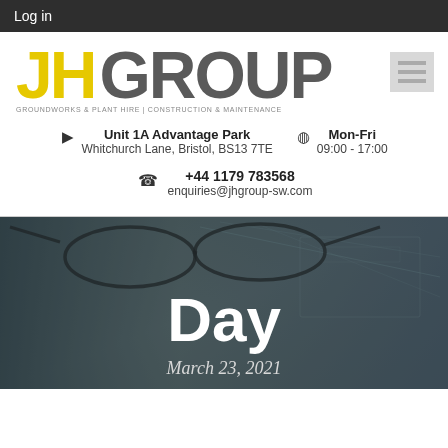Log in
[Figure (logo): JH Group logo — 'JH' in yellow, 'GROUP' in grey, tagline: GROUNDWORKS & PLANT HIRE | CONSTRUCTION & MAINTENANCE, with hamburger menu icon on right]
Unit 1A Advantage Park
Whitchurch Lane, Bristol, BS13 7TE
Mon-Fri
09:00 - 17:00
+44 1179 783568
enquiries@jhgroup-sw.com
[Figure (photo): Dark overlay photo of glasses resting on engineering blueprints/drawings]
Day
March 23, 2021